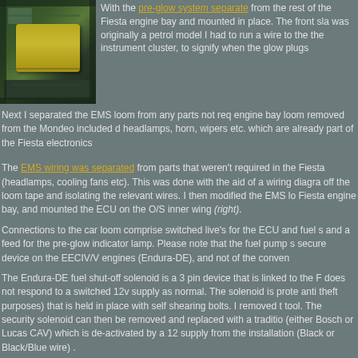[Figure (photo): Engine bay photo showing a Ford Fiesta engine compartment with a yellow component visible]
With the pre-glow system separate from the rest of the Fiesta engine bay and mounted in place. The front sla was originally a petrol model I had to run a wire to the the instrument cluster, to signify when the glow plugs
Next I separated the EMS loom from any parts not req engine bay loom removed from the Mondeo included d headlamps, horn, wipers etc. which are already part of the Fiesta electronics
The EMS wiring was separated from parts that weren't required in the Fiesta (headlamps, cooling fans etc). This was done with the aid of a wiring diagram off the loom tape and isolating the relevant wires. I then modified the EMS lo Fiesta engine bay, and mounted the ECU on the O/S inner wing (right).
Connections to the car loom comprise switched live's for the ECU and fuel s and a feed for the pre-glow indicator lamp. Please note that the fuel pump s secure device on the EECIV/V engines (Endura-DE), and not of the conven
The Endura-DE fuel shut-off solenoid is a 3 pin device that is linked to the F does not respond to a switched 12v supply as normal. The solenoid is prote anti theft purposes) that is held in place with self shearing bolts. I removed t tool. The security solenoid can then be removed and replaced with a traditio (either Bosch or Lucas CAV) which is de-activated by a 12 supply from the installation (Black or Black/Blue wire) .
[Figure (photo): Flywheel/ring gear photo showing a circular metallic component with bolt holes]
The final modification required to use a diesel EMS is speed sensor (called CPS on petrol engines - Crank P the ECU. This is necessary as I have retained the B5 the B5 gearbox was used only with N/A engines it has
To accurately reproduce the drillings from the larger M flywheel, details below on the MT75 ...